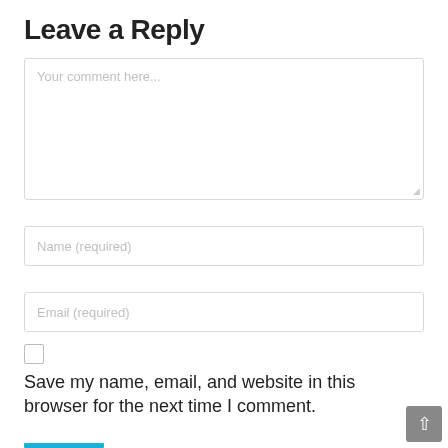Leave a Reply
Your comment here...
Name (required)
Email (required)
Save my name, email, and website in this browser for the next time I comment.